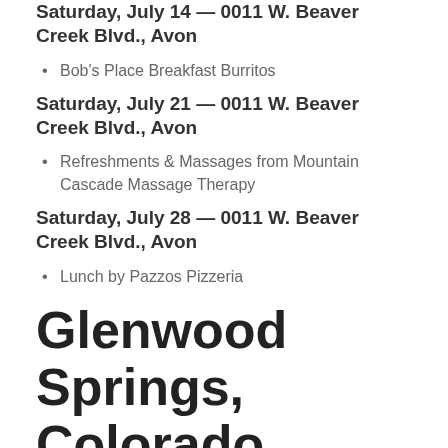Saturday, July 14 — 0011 W. Beaver Creek Blvd., Avon
Bob's Place Breakfast Burritos
Saturday, July 21 — 0011 W. Beaver Creek Blvd., Avon
Refreshments & Massages from Mountain Cascade Massage Therapy
Saturday, July 28 — 0011 W. Beaver Creek Blvd., Avon
Lunch by Pazzos Pizzeria
Glenwood Springs, Colorado
Saturday, July 7 — 2014 Grand Ave., Glenwood Springs